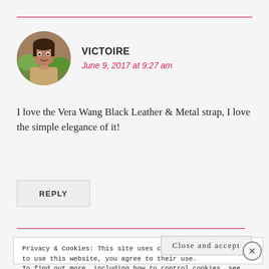[Figure (photo): Circular avatar photo of Victoire, a woman smiling outdoors with greenery in background]
VICTOIRE
June 9, 2017 at 9:27 am
I love the Vera Wang Black Leather & Metal strap, I love the simple elegance of it!
REPLY
Privacy & Cookies: This site uses cookies. By continuing to use this website, you agree to their use.
To find out more, including how to control cookies, see here: Cookie Policy
Close and accept